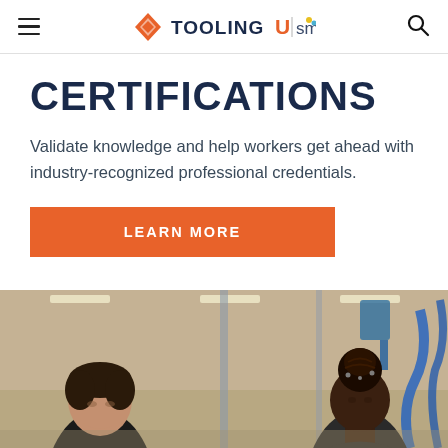Tooling U SME
CERTIFICATIONS
Validate knowledge and help workers get ahead with industry-recognized professional credentials.
LEARN MORE
[Figure (photo): Two workers in an industrial/manufacturing facility — a man on the left and a woman on the right with braided hair up, both looking downward, working in a workshop environment with equipment and piping visible in the background.]